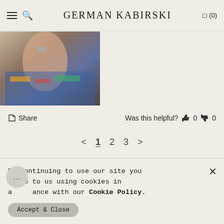GERMAN KABIRSKI
[Figure (photo): Close-up photo of a hand wearing a ring, holding a colorful patterned item. Partial view at top of page.]
Share    Was this helpful? 👍 0 👎 0
< 1 2 3 >
By continuing to use our site you agree to us using cookies in accordance with our Cookie Policy.
Accept & Close